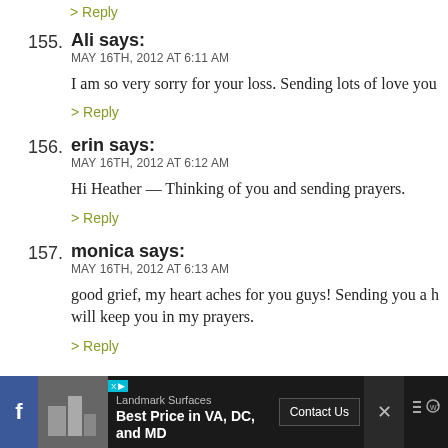> Reply
155. Ali says:
MAY 16TH, 2012 AT 6:11 AM
I am so very sorry for your loss. Sending lots of love you
> Reply
156. erin says:
MAY 16TH, 2012 AT 6:12 AM
Hi Heather — Thinking of you and sending prayers.
> Reply
157. monica says:
MAY 16TH, 2012 AT 6:13 AM
good grief, my heart aches for you guys! Sending you a h will keep you in my prayers.
> Reply
[Figure (other): Advertisement bar at bottom: Landmark Surfaces ad with Facebook icon, ad image, XID badge, headline 'Best Price in VA, DC, and MD', Contact Us button, and close/other icons]